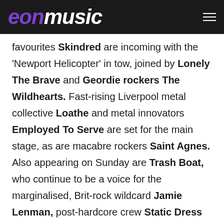eon music
favourites Skindred are incoming with the 'Newport Helicopter' in tow, joined by Lonely The Brave and Geordie rockers The Wildhearts. Fast-rising Liverpool metal collective Loathe and metal innovators Employed To Serve are set for the main stage, as are macabre rockers Saint Agnes. Also appearing on Sunday are Trash Boat, who continue to be a voice for the marginalised, Brit-rock wildcard Jamie Lenman, post-hardcore crew Static Dress and the rulebook-shredding hardcore outfit Higher Power. Pop metal princess Cassyette, rock'n'rollers Massive Wagons and hardcore punks Chubby & The Gang all join the bill, and last but by no means least, the world's only Elvis x Nirvana